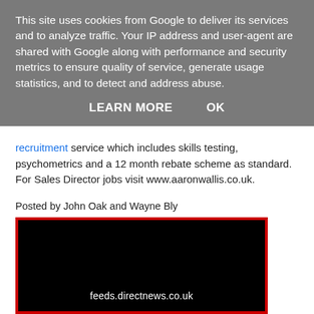This site uses cookies from Google to deliver its services and to analyze traffic. Your IP address and user-agent are shared with Google along with performance and security metrics to ensure quality of service, generate usage statistics, and to detect and address abuse.
LEARN MORE   OK
recruitment service which includes skills testing, psychometrics and a 12 month rebate scheme as standard. For Sales Director jobs visit www.aaronwallis.co.uk.
Posted by John Oak and Wayne Bly
[Figure (screenshot): Black video embed placeholder with red border showing feeds.directnews.co.uk URL text]